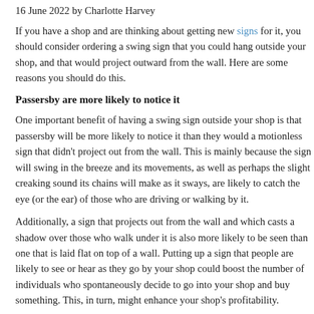16 June 2022 by Charlotte Harvey
If you have a shop and are thinking about getting new signs for it, you should consider ordering a swing sign that you could hang outside your shop, and that would project outward from the wall. Here are some reasons you should do this.
Passersby are more likely to notice it
One important benefit of having a swing sign outside your shop is that passersby will be more likely to notice it than they would a motionless sign that didn't project out from the wall. This is mainly because the sign will swing in the breeze and its movements, as well as perhaps the slight creaking sound its chains will make as it sways, are likely to catch the eye (or the ear) of those who are driving or walking by it.
Additionally, a sign that projects out from the wall and which casts a shadow over those who walk under it is also more likely to be seen than one that is laid flat on top of a wall. Putting up a sign that people are likely to see or hear as they go by your shop could boost the number of individuals who spontaneously decide to go into your shop and buy something. This, in turn, might enhance your shop's profitability.
It will be easy to remove for repairs or to update